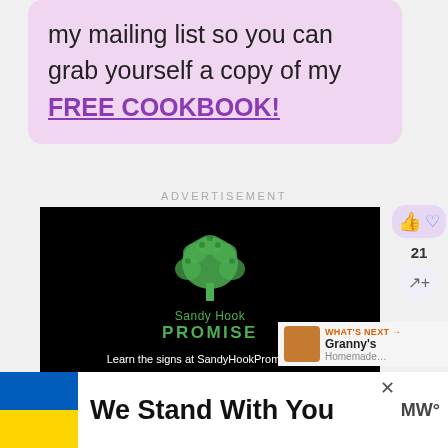my mailing list so you can grab yourself a copy of my FREE COOKBOOK!
ADVERTISEMENT
[Figure (screenshot): Sandy Hook Promise advertisement on black background with green tree logo made of hands, text: Sandy Hook PROMISE, Learn the signs at SandyHookPromise.org]
[Figure (screenshot): Social interaction sidebar with thumbs up and heart buttons, count of 21, and share button]
[Figure (screenshot): What's Next panel showing Granny's Homemade thumbnail]
[Figure (screenshot): Bottom banner with Ukraine flag colors and text: We Stand With You]